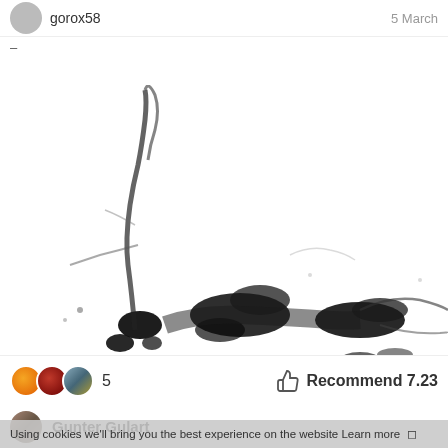gorox58   5 March
-
[Figure (photo): Black ink dispersing in water against white background, forming flowing organic shapes and splatter patterns]
5   Recommend 7.23
Gunter Gulart
Using cookies we'll bring you the best experience on the website Learn more